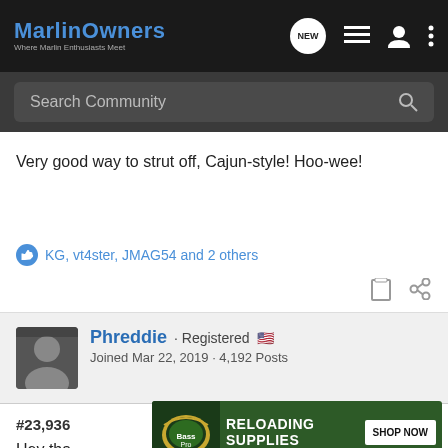MarlinOwners · Where Marlin Enthusiasts Meet
Search Community
Very good way to strut off, Cajun-style! Hoo-wee!
KG, vt4ster, JMAG54 and 2 others
Phreddie · Registered 🇺🇸 · Joined Mar 22, 2019 · 4,192 Posts
#23,936
Hey tha
[Figure (screenshot): Bass Pro Shops ad banner: RELOADING SUPPLIES · SHOP NOW]